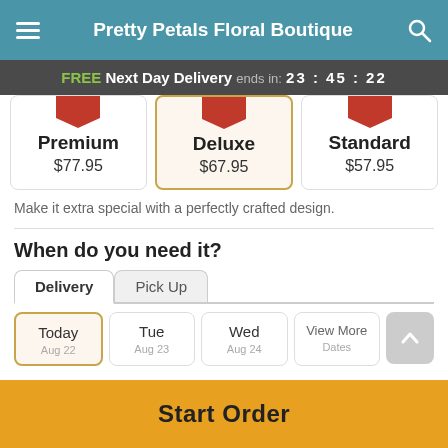Pretty Petals Floral Boutique
FREE Next Day Delivery ends in: 23:45:22
| Premium | Deluxe | Standard |
| --- | --- | --- |
| $77.95 | $67.95 | $57.95 |
Make it extra special with a perfectly crafted design.
When do you need it?
Delivery  Pick Up
Today
Tue
Wed
View More Dates
Start Order